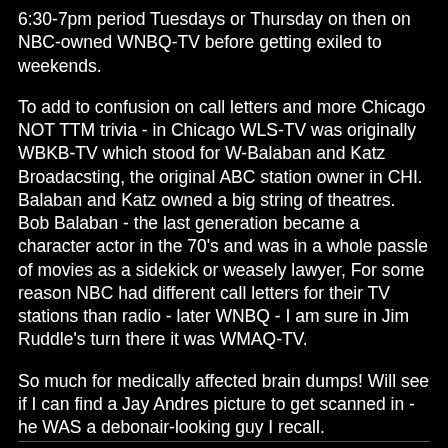6:30-7pm period Tuesdays or Thursday on then on NBC-owned WNBQ-TV before getting exiled to weekends.
To add to confusion on call letters and more Chicago NOT TTM trivia - in Chicago WLS-TV was originally WBKB-TV which stood for W-Balaban and Katz Broadacsting, the original ABC station owner in CHI. Balaban and Katz owned a big string of theatres. Bob Balaban - the last generation became a character actor in the 70's and was in a whole passle of movies as a sidekick or weasely lawyer, For some reason NBC had different call letters for their TV stations than radio - later WNBQ - I am sure in Jim Ruddle's turn there it was WMAQ-TV.
So much for medically affected brain dumps! Will see if I can find a Jay Andres picture to get scanned in - he WAS a debonair-looking guy I recall.